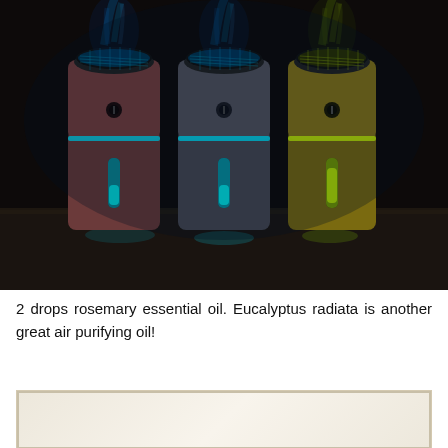[Figure (photo): Three cylindrical humidifier/diffuser devices side by side on a dark wooden surface, emitting mist/vapor from the top. Left device is dark reddish-brown with cyan/blue light indicator strip and blue mist. Center device is dark gray with cyan light and blue mist. Right device is olive/golden yellow with yellow-green light and green mist. Each device has a circular mesh top, a small circular button in the middle, a glowing LED strip on the lower body, and glowing ring separating upper and lower halves. Dark moody background.]
2 drops rosemary essential oil. Eucalyptus radiata is another great air purifying oil!
[Figure (photo): Partial view of a second image at the bottom of the page, showing a light beige/cream background with a decorative border, cropped.]